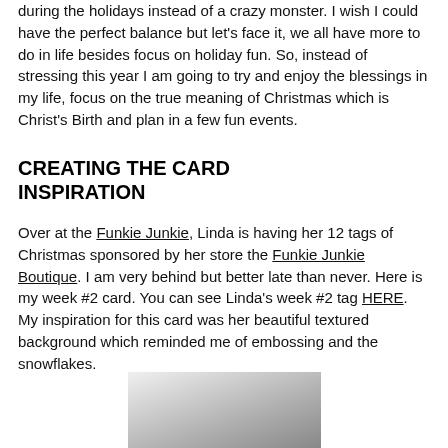during the holidays instead of a crazy monster. I wish I could have the perfect balance but let's face it, we all have more to do in life besides focus on holiday fun. So, instead of stressing this year I am going to try and enjoy the blessings in my life, focus on the true meaning of Christmas which is Christ's Birth and plan in a few fun events.
CREATING THE CARD INSPIRATION
Over at the Funkie Junkie, Linda is having her 12 tags of Christmas sponsored by her store the Funkie Junkie Boutique. I am very behind but better late than never. Here is my week #2 card. You can see Linda's week #2 tag HERE. My inspiration for this card was her beautiful textured background which reminded me of embossing and the snowflakes.
[Figure (photo): Partial photo showing white/grey textured background, bottom portion of image visible at page bottom]